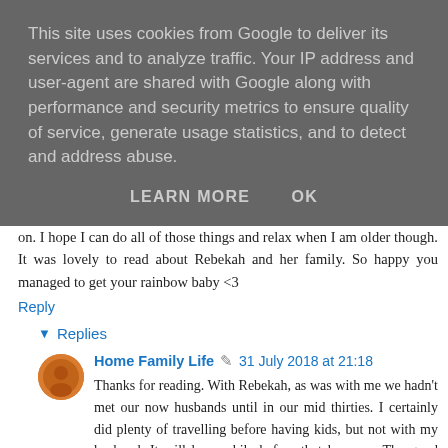This site uses cookies from Google to deliver its services and to analyze traffic. Your IP address and user-agent are shared with Google along with performance and security metrics to ensure quality of service, generate usage statistics, and to detect and address abuse.
LEARN MORE   OK
on. I hope I can do all of those things and relax when I am older though. It was lovely to read about Rebekah and her family. So happy you managed to get your rainbow baby <3
Reply
Replies
Home Family Life  31 July 2018 at 21:18
Thanks for reading. With Rebekah, as was with me we hadn't met our now husbands until in our mid thirties. I certainly did plenty of travelling before having kids, but not with my husband. It will be a while before that happens. The good thing about having kids young is that even